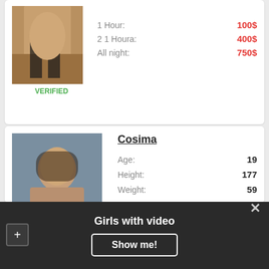[Figure (photo): Partial photo of a person in dark stockings]
VERIFIED
1 Hour: 100$
2 1 Houra: 400$
All night: 750$
Cosima
[Figure (photo): Photo of a dark-haired young woman]
Age: 19
Height: 177
Weight: 59
Bust: DD
1 Hour: 250$
Два 1 Houra: 300$
All night: 750$
Girls with video
Show me!